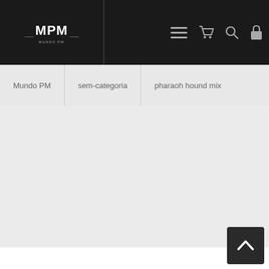MPM
Mundo PM > sem-categoria > pharaoh hound mix
[Figure (other): Empty main content area with light gray background]
[Figure (other): Back to top button with upward arrow chevron icon]